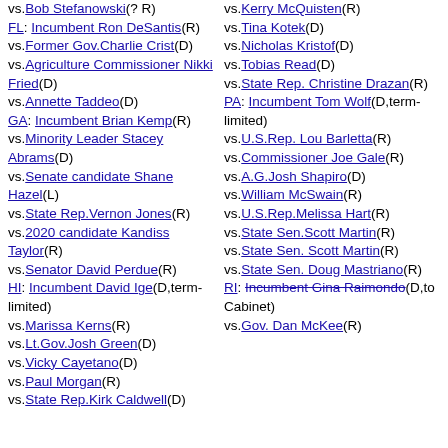vs.Bob Stefanowski(? R)
FL: Incumbent Ron DeSantis(R)
vs.Former Gov.Charlie Crist(D)
vs.Agriculture Commissioner Nikki Fried(D)
vs.Annette Taddeo(D)
GA: Incumbent Brian Kemp(R)
vs.Minority Leader Stacey Abrams(D)
vs.Senate candidate Shane Hazel(L)
vs.State Rep.Vernon Jones(R)
vs.2020 candidate Kandiss Taylor(R)
vs.Senator David Perdue(R)
HI: Incumbent David Ige(D,term-limited)
vs.Marissa Kerns(R)
vs.Lt.Gov.Josh Green(D)
vs.Vicky Cayetano(D)
vs.Paul Morgan(R)
vs.State Rep.Kirk Caldwell(D)
vs.Kerry McQuisten(R)
vs.Tina Kotek(D)
vs.Nicholas Kristof(D)
vs.Tobias Read(D)
vs.State Rep. Christine Drazan(R)
PA: Incumbent Tom Wolf(D,term-limited)
vs.U.S.Rep. Lou Barletta(R)
vs.Commissioner Joe Gale(R)
vs.A.G.Josh Shapiro(D)
vs.William McSwain(R)
vs.U.S.Rep.Melissa Hart(R)
vs.State Sen.Scott Martin(R)
vs.State Sen. Scott Martin(R)
vs.State Sen. Doug Mastriano(R)
RI: Incumbent Gina Raimondo(D,to Cabinet)
vs.Gov. Dan McKee(R)